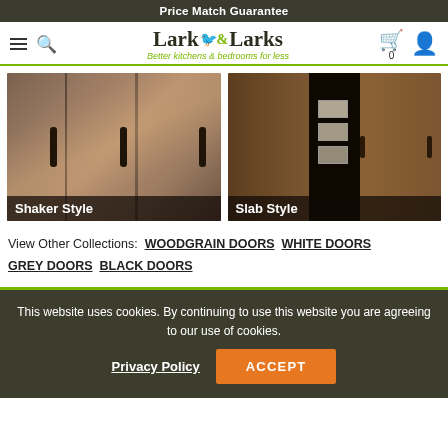Price Match Guarantee
[Figure (logo): Lark & Larks logo with bird icon and tagline 'Better kitchens & bedrooms for less']
[Figure (photo): Two wardrobe door style images side by side: Shaker Style (dark brown doors with long bar handles) and Slab Style (wood grain flat doors with dark open compartment)]
Shaker Style
Slab Style
View Other Collections: WOODGRAIN DOORS  WHITE DOORS  GREY DOORS  BLACK DOORS
This website uses cookies. By continuing to use this website you are agreeing to our use of cookies.
Privacy Policy   ACCEPT